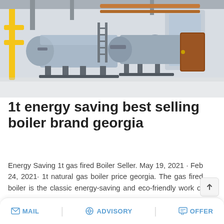[Figure (photo): Industrial boiler equipment in a factory setting — large cylindrical blue-grey boiler tanks with yellow piping and metal framework on a white floor]
1t energy saving best selling boiler brand georgia
Energy Saving 1t gas fired Boiler Seller. May 19, 2021 · Feb 24, 2021· 1t natural gas boiler price georgia. The gas fired boiler is the classic energy-saving and eco-friendly work of …
[Figure (screenshot): WhatsApp sticker save overlay with purple-to-pink gradient background, showing WhatsApp and emoji icons labeled 'Save Stickers on WhatsApp']
MAIL   ADVISORY   OFFER